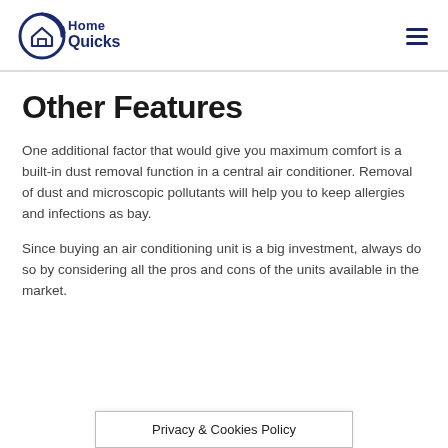HomeQuicks
Other Features
One additional factor that would give you maximum comfort is a built-in dust removal function in a central air conditioner. Removal of dust and microscopic pollutants will help you to keep allergies and infections as bay.
Since buying an air conditioning unit is a big investment, always do so by considering all the pros and cons of the units available in the market.
Privacy & Cookies Policy